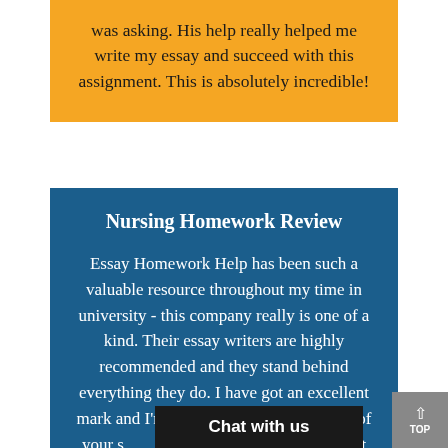was asking. His help really helped me write my essay and succeed with this assignment. This is absolutely incredible!
Nursing Homework Review
Essay Homework Help has been such a valuable resource throughout my time in university - this company really is one of a kind. Their essay writers are highly recommended and they stand behind everything they do. I have got an excellent mark and I'm now convinced in the truth of your [services]. Thanks so much! It was actu[ally exactly what I was] looking for